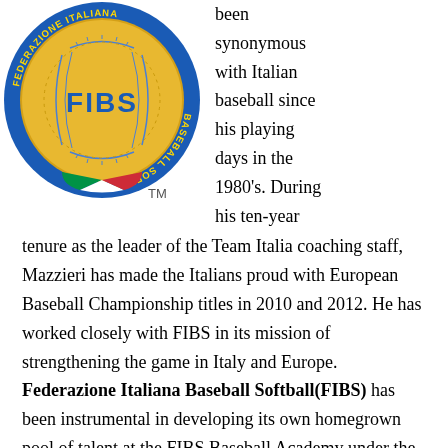[Figure (logo): FIBS (Federazione Italiana Baseball Softball) logo — gold baseball with blue stitching, blue circular border reading FEDERAZIONE ITALIANA BASEBALL SOFTBALL, Italian flag colors at bottom, FIBS text in blue on ball, TM mark]
been synonymous with Italian baseball since his playing days in the 1980's. During his ten-year tenure as the leader of the Team Italia coaching staff, Mazzieri has made the Italians proud with European Baseball Championship titles in 2010 and 2012. He has worked closely with FIBS in its mission of strengthening the game in Italy and Europe. Federazione Italiana Baseball Softball(FIBS) has been instrumental in developing its own homegrown pool of talent at the FIBS Baseball Academy under the watchful eye of MLB director and Team Italia pitching coach Bill Holmberg.